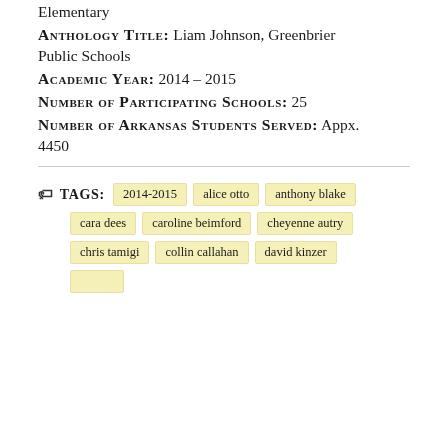Elementary
ANTHOLOGY TITLE: Liam Johnson, Greenbrier Public Schools
ACADEMIC YEAR: 2014 – 2015
NUMBER OF PARTICIPATING SCHOOLS: 25
NUMBER OF ARKANSAS STUDENTS SERVED: Appx. 4450
TAGS: 2014-2015, alice otto, anthony blake, cara dees, caroline beimford, cheyenne autry, chris tamigi, collin callahan, david kinzer